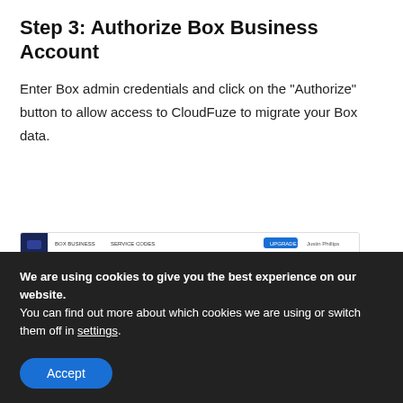Step 3: Authorize Box Business Account
Enter Box admin credentials and click on the “Authorize” button to allow access to CloudFuze to migrate your Box data.
[Figure (screenshot): Screenshot of CloudFuze web app showing a Box login popup dialog with the Box logo and 'Log in to grant access to Box' prompt, overlaid on the CloudFuze dashboard.]
We are using cookies to give you the best experience on our website.
You can find out more about which cookies we are using or switch them off in settings.
Accept